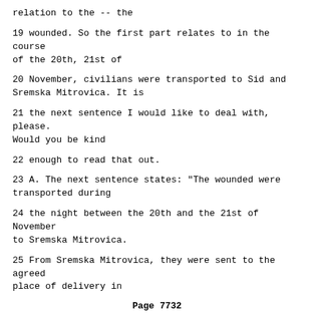relation to the -- the
19 wounded. So the first part relates to in the course of the 20th, 21st of
20 November, civilians were transported to Sid and Sremska Mitrovica. It is
21 the next sentence I would like to deal with, please. Would you be kind
22 enough to read that out.
23 A. The next sentence states: "The wounded were transported during
24 the night between the 20th and the 21st of November to Sremska Mitrovica.
25 From Sremska Mitrovica, they were sent to the agreed place of delivery in
Page 7732
1 Bosanska Raca.
2 Q. Thank you very much. Can we then move on, please, to the next
3 entry, starting, "In the course ..." Would you be kind enough, please, to